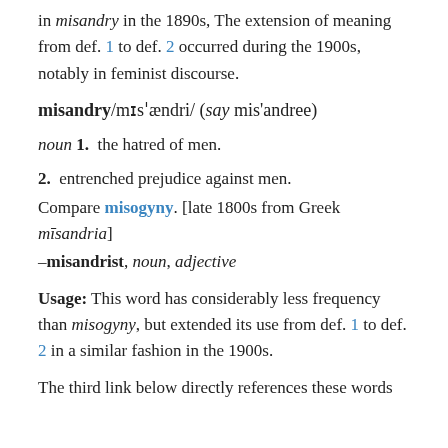in misandry in the 1890s, The extension of meaning from def. 1 to def. 2 occurred during the 1900s, notably in feminist discourse.
misandry/mɪsˈændri/ (say mis'andree)
noun 1.  the hatred of men.
2.  entrenched prejudice against men.
Compare misogyny. [late 1800s from Greek mīsandria] –misandrist, noun, adjective
Usage: This word has considerably less frequency than misogyny, but extended its use from def. 1 to def. 2 in a similar fashion in the 1900s.
The third link below directly references these words